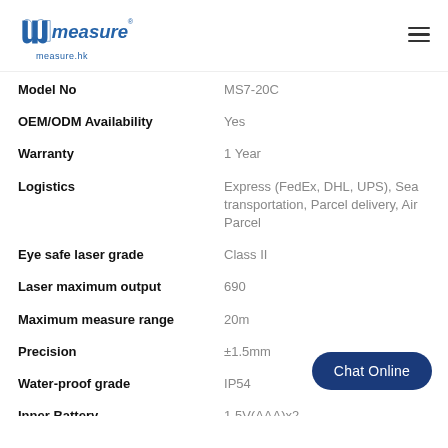[Figure (logo): Umeasure logo with stylized mu symbol and 'measure' text in blue italic font, with 'measure.hk' subtitle below]
| Property | Value |
| --- | --- |
| Model No | MS7-20C |
| OEM/ODM Availability | Yes |
| Warranty | 1 Year |
| Logistics | Express (FedEx, DHL, UPS), Sea transportation, Parcel delivery, Air Parcel |
| Eye safe laser grade | Class II |
| Laser maximum output | 690 |
| Maximum measure range | 20m |
| Precision | ±1.5mm |
| Water-proof grade | IP54 |
| Inner Battery | 1.5V(AAA)x2 |
| Brand | Umeasure |